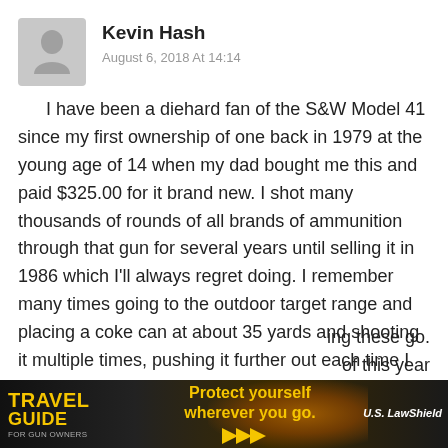[Figure (illustration): Gray avatar/profile placeholder icon showing a generic person silhouette]
Kevin Hash
August 6, 2018 At 14:14
I have been a diehard fan of the S&W Model 41 since my first ownership of one back in 1979 at the young age of 14 when my dad bought me this and paid $325.00 for it brand new. I shot many thousands of rounds of all brands of ammunition through that gun for several years until selling it in 1986 which I'll always regret doing. I remember many times going to the outdoor target range and placing a coke can at about 35 yards and shooting it multiple times, pushing it further out each time I hit it until it would be at around 50+ yards or further. All the years I shot it I never remember it ever jamming which said something for it. Now at 53 I own my 11th
ing these go.
of this year
[Figure (infographic): Travel Guide For Gun Owners advertisement banner with text 'Protect yourself wherever you go.' and US LawShield branding on dark background with yellow arrows]